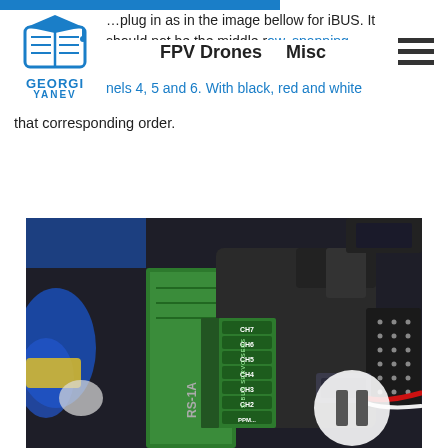FPV Drones | Misc
…plug in as in the image bellow for iBUS. It should not be the middle row, spanning across channels 4, 5 and 6. With black, red and white wire in that corresponding order.
[Figure (photo): Close-up photo of a receiver or flight controller board showing channel labels: CH2, CH3, CH4, CH5, CH6 and others on a green PCB, with black housing and wires (red and white) plugged in. A circular pause button overlay is visible in the bottom-right corner of the image.]